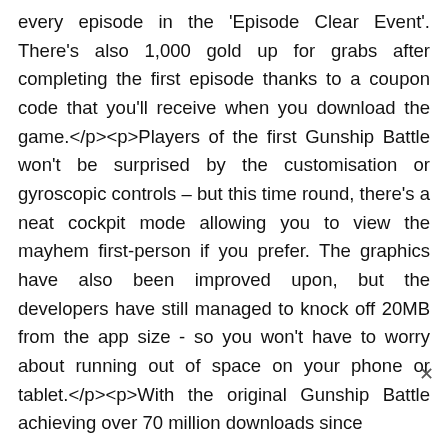every episode in the 'Episode Clear Event'. There's also 1,000 gold up for grabs after completing the first episode thanks to a coupon code that you'll receive when you download the game.</p><p>Players of the first Gunship Battle won't be surprised by the customisation or gyroscopic controls – but this time round, there's a neat cockpit mode allowing you to view the mayhem first-person if you prefer. The graphics have also been improved upon, but the developers have still managed to knock off 20MB from the app size - so you won't have to worry about running out of space on your phone or tablet.</p><p>With the original Gunship Battle achieving over 70 million downloads since